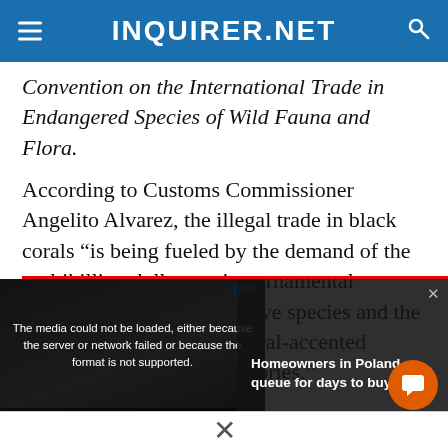INQUIRER.NET
Convention on the International Trade in Endangered Species of Wild Fauna and Flora.
According to Customs Commissioner Angelito Alvarez, the illegal trade in black corals “is being fueled by the demand of the multibillion dollar marine ornamental industry for exotic decorative species and the increasing popularity of coral-accented jewelry and fashion accessories.”
[Figure (screenshot): Embedded video player with error message: The media could not be loaded, either because the server or network failed or because the format is not supported. Video thumbnail shows text HOMEOWNERS IN POLAND QUEUE FOR DAYS TO BUY FUEL. Side panel shows title: Homeowners in Poland queue for days to buy fuel.]